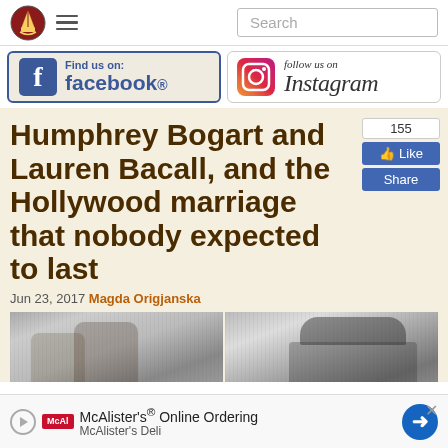[Figure (logo): Shield/crest logo icon in top left navigation bar]
[Figure (logo): Find us on Facebook badge with blue Facebook logo and cream background]
[Figure (logo): Follow us on Instagram badge with Instagram camera icon]
Humphrey Bogart and Lauren Bacall, and the Hollywood marriage that nobody expected to last
Jun 23, 2017 Magda Origjanska
[Figure (photo): Black and white photograph strip showing two people, partially cut off at bottom]
[Figure (screenshot): McAlister's Online Ordering advertisement bar with McAl logo, navigation arrow icon, close X button]